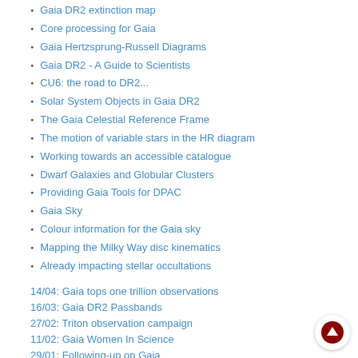Gaia DR2 extinction map
Core processing for Gaia
Gaia Hertzsprung-Russell Diagrams
Gaia DR2 - A Guide to Scientists
CU6: the road to DR2...
Solar System Objects in Gaia DR2
The Gaia Celestial Reference Frame
The motion of variable stars in the HR diagram
Working towards an accessible catalogue
Dwarf Galaxies and Globular Clusters
Providing Gaia Tools for DPAC
Gaia Sky
Colour information for the Gaia sky
Mapping the Milky Way disc kinematics
Already impacting stellar occultations
14/04: Gaia tops one trillion observations
16/03: Gaia DR2 Passbands
27/02: Triton observation campaign
11/02: Gaia Women In Science
29/01: Following-up on Gaia
2017
19/12: 4th launch anniversary
24/11: Gaia-GOSA service
27/10: German Gaia stamp in the making
19/10: Hertzsprung-russell diagram using Gaia DR1
05/10: Updated prediction to the Triton occultation campaign
04/10: 1:1 Gaia model arrives at ESAC